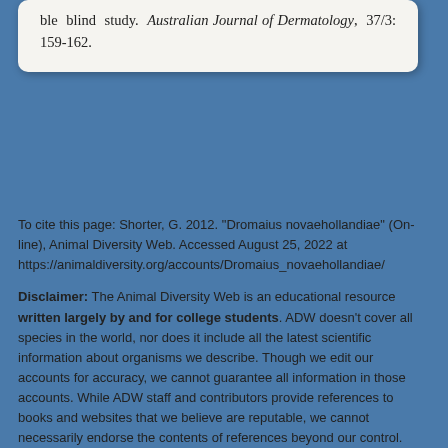ble blind study. Australian Journal of Dermatology, 37/3: 159-162.
To cite this page: Shorter, G. 2012. "Dromaius novaehollandiae" (On-line), Animal Diversity Web. Accessed August 25, 2022 at https://animaldiversity.org/accounts/Dromaius_novaehollandiae/
Disclaimer: The Animal Diversity Web is an educational resource written largely by and for college students. ADW doesn't cover all species in the world, nor does it include all the latest scientific information about organisms we describe. Though we edit our accounts for accuracy, we cannot guarantee all information in those accounts. While ADW staff and contributors provide references to books and websites that we believe are reputable, we cannot necessarily endorse the contents of references beyond our control.
[Figure (logo): University of Michigan block M logo in gold/yellow with UNIVERSITY OF MICHIGAN text below]
U-M Gateway | U-M Museum of Zoology
U-M Ecology and Evolutionary Biology
© 2020 Regents of the University of Michigan
Report Error / Comment